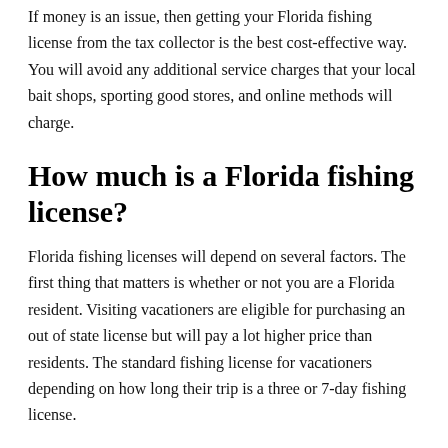If money is an issue, then getting your Florida fishing license from the tax collector is the best cost-effective way. You will avoid any additional service charges that your local bait shops, sporting good stores, and online methods will charge.
How much is a Florida fishing license?
Florida fishing licenses will depend on several factors. The first thing that matters is whether or not you are a Florida resident. Visiting vacationers are eligible for purchasing an out of state license but will pay a lot higher price than residents. The standard fishing license for vacationers depending on how long their trip is a three or 7-day fishing license.
If you want a freshwater/saltwater fishing license, you will have to be a Florida resident. The same thing goes for a long term 5-year fishing license in both saltwater and freshwater fishing. To get resident status in Florida, you must have a permanent residence in the state or be in the US Armed Forces stationed in Florida. Here is a complete